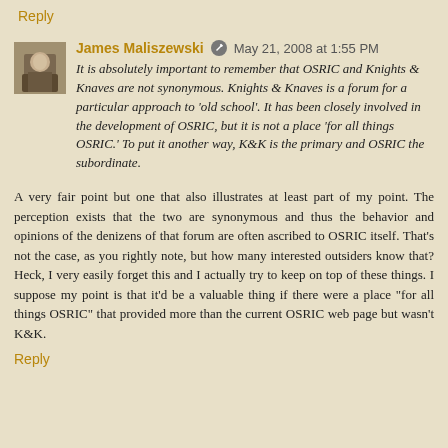Reply
James Maliszewski  May 21, 2008 at 1:55 PM
It is absolutely important to remember that OSRIC and Knights & Knaves are not synonymous. Knights & Knaves is a forum for a particular approach to 'old school'. It has been closely involved in the development of OSRIC, but it is not a place 'for all things OSRIC.' To put it another way, K&K is the primary and OSRIC the subordinate.
A very fair point but one that also illustrates at least part of my point. The perception exists that the two are synonymous and thus the behavior and opinions of the denizens of that forum are often ascribed to OSRIC itself. That's not the case, as you rightly note, but how many interested outsiders know that? Heck, I very easily forget this and I actually try to keep on top of these things. I suppose my point is that it'd be a valuable thing if there were a place "for all things OSRIC" that provided more than the current OSRIC web page but wasn't K&K.
Reply